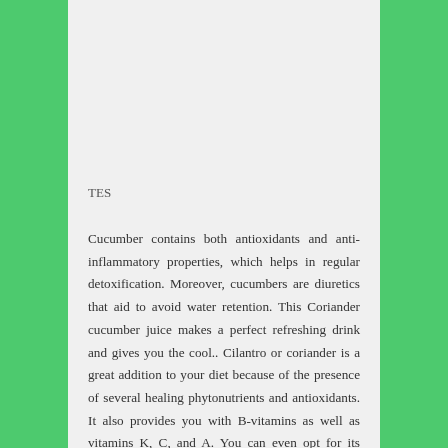TES
Cucumber contains both antioxidants and anti-inflammatory properties, which helps in regular detoxification. Moreover, cucumbers are diuretics that aid to avoid water retention. This Coriander cucumber juice makes a perfect refreshing drink and gives you the cool.. Cilantro or coriander is a great addition to your diet because of the presence of several healing phytonutrients and antioxidants. It also provides you with B-vitamins as well as vitamins K, C, and A. You can even opt for its juice and enjoy numerous benefits. Coriander Juice Benefits. Cilantro or coriander leaves are a rich source of vitamin A and K, several antioxidants, and plant sterols. It can lower free radical damage, blood pressure, and blood glucose levels. It can also fight against several pathogenic microbes, including those that cause food poisoning